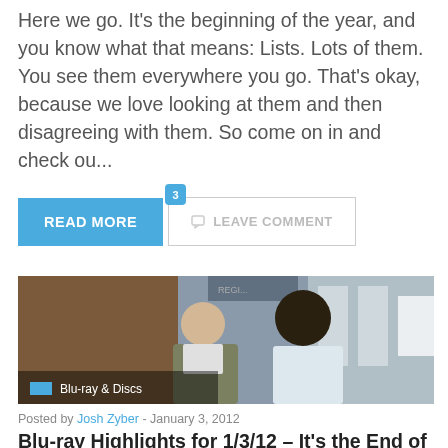Here we go. It's the beginning of the year, and you know what that means: Lists. Lots of them. You see them everywhere you go. That's okay, because we love looking at them and then disagreeing with them. So come on in and check ou...
READ MORE
3  LEAVE COMMENT
[Figure (photo): Two men facing each other in what appears to be an office or registration area. A blue category badge reading 'Blu-ray & Discs' is overlaid at the bottom left.]
Posted by Josh Zyber - January 3, 2012
Blu-ray Highlights for 1/3/12 – It's the End of the W
Welcome back from another long weekend!